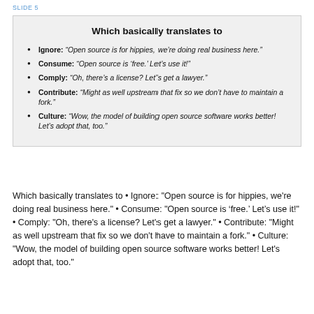SLIDE 5
Which basically translates to
Ignore: “Open source is for hippies, we’re doing real business here.”
Consume: “Open source is ‘free.’ Let’s use it!”
Comply: “Oh, there’s a license? Let’s get a lawyer.”
Contribute: “Might as well upstream that fix so we don’t have to maintain a fork.”
Culture: “Wow, the model of building open source software works better! Let’s adopt that, too.”
Which basically translates to • Ignore: "Open source is for hippies, we're doing real business here." • Consume: "Open source is ‘free.’ Let’s use it!" • Comply: "Oh, there's a license? Let’s get a lawyer." • Contribute: "Might as well upstream that fix so we don’t have to maintain a fork." • Culture: "Wow, the model of building open source software works better! Let’s adopt that, too."